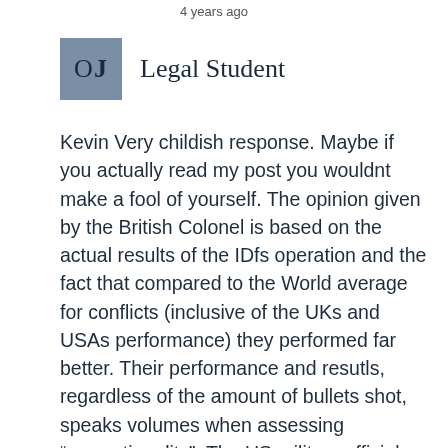4 years ago
OJ   Legal Student
Kevin Very childish response. Maybe if you actually read my post you wouldnt make a fool of yourself. The opinion given by the British Colonel is based on the actual results of the IDfs operation and the fact that compared to the World average for conflicts (inclusive of the UKs and USAs performance) they performed far better. Their performance and resutls, regardless of the amount of bullets shot, speaks volumes when assessing “proportionality”. The US military official merely gives an opinio based on the IDF’s method during one single event out of hundreds during their